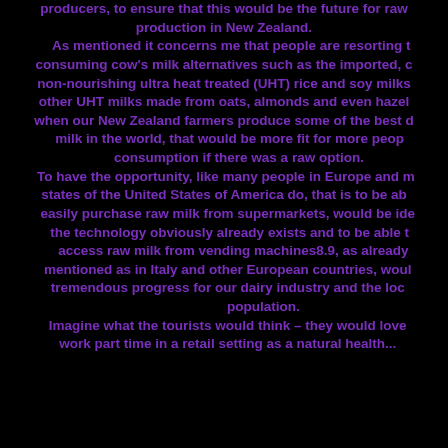producers, to ensure that this would be the future for raw production in New Zealand. As mentioned it concerns me that people are resorting to consuming cow's milk alternatives such as the imported, cheap, non-nourishing ultra heat treated (UHT) rice and soy milks, other UHT milks made from oats, almonds and even hazelnuts, when our New Zealand farmers produce some of the best dairy milk in the world, that would be more fit for more people's consumption if there was a raw option. To have the opportunity, like many people in Europe and many states of the United States of America do, that is to be able to easily purchase raw milk from supermarkets, would be ideal, the technology obviously already exists and to be able to access raw milk from vending machines8.9, as already mentioned as in Italy and other European countries, would be tremendous progress for our dairy industry and the local population. Imagine what the tourists would think – they would love to work part time in a retail setting as a natural health...